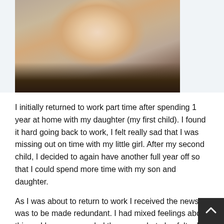[Figure (photo): Close-up photo of a blonde woman smiling, with another person partially visible in the background]
I initially returned to work part time after spending 1 year at home with my daughter (my first child). I found it hard going back to work, I felt really sad that I was missing out on time with my little girl.  After my second child, I decided to again have another full year off so that I could spend more time with my son and daughter.
As I was about to return to work I received the news I was to be made redundant. I had mixed feelings about this as I knew we needed the money but also felt relief that I could be the 'full time' Mum that I always wanted to be. Having been made redundant...